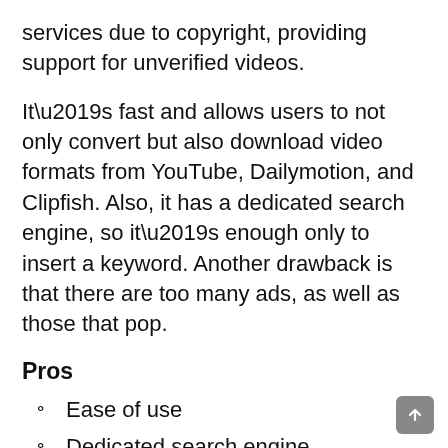services due to copyright, providing support for unverified videos.
It’s fast and allows users to not only convert but also download video formats from YouTube, Dailymotion, and Clipfish. Also, it has a dedicated search engine, so it’s enough only to insert a keyword. Another drawback is that there are too many ads, as well as those that pop.
Pros
Ease of use
Dedicated search engine
Compatible with other video hosting service